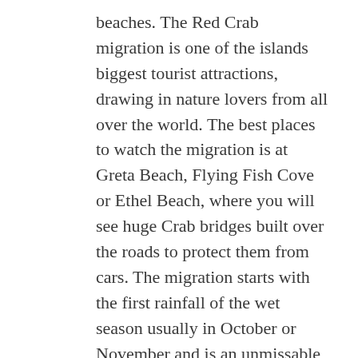beaches. The Red Crab migration is one of the islands biggest tourist attractions, drawing in nature lovers from all over the world. The best places to watch the migration is at Greta Beach, Flying Fish Cove or Ethel Beach, where you will see huge Crab bridges built over the roads to protect them from cars. The migration starts with the first rainfall of the wet season usually in October or November and is an unmissable event! Greta Beach is a small cove where endangered Hawksbill and Green Turtles nest all year round. When visiting Greta Beach, you will be able to watch as the turtles crawl to the sea, lay eggs and watch new hatchlings – a natural phenomenon you will never forget. Unfortunately, this beach has a problem with plastic pollution, so make sure to pick up some rubbish to protect the wildlife.
Dolly Beach is a secluded beach fringed by palm